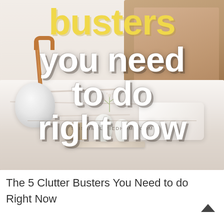[Figure (photo): Styled bedroom scene with white bedding, wooden headboard, copper/rose gold lamp with globe bulb, white ceramic vases on a tray, and small floral sprigs. Overlaid with bold yellow text 'busters' at top and large white text 'you need to do right now' in the center. Website URL 'THISSIMPLIFIEDHOME.COM' appears near bottom of image.]
The 5 Clutter Busters You Need to do Right Now